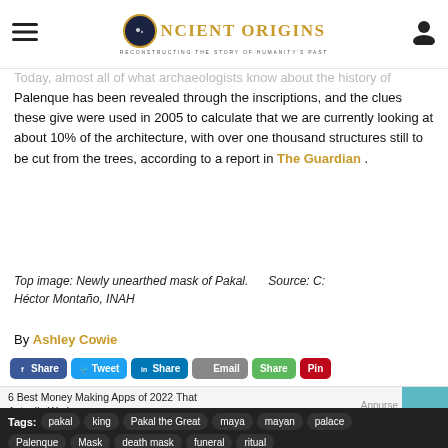Ancient Origins — Reconstructing the story of humanity's past
Today, almost all of what archaeologists know about the history of Palenque has been revealed through the inscriptions, and the clues these give were used in 2005 to calculate that we are currently looking at about 10% of the architecture, with over one thousand structures still to be cut from the trees, according to a report in The Guardian.
Top image: Newly unearthed mask of Pakal.      Source: C: Héctor Montaño, INAH
By Ashley Cowie
[Figure (infographic): Social sharing buttons: Share (Facebook), Tweet (Twitter), Share (LinkedIn), Email, Share (generic), Pin (Pinterest)]
[Figure (infographic): Advertisement: 6 Best Money Making Apps of 2022 That Actually Work, with image of money and phone]
Tags: pakal, king, Pakal the Great, maya, mayan, palace, Palenque, Mask, death mask, funeral, ritual